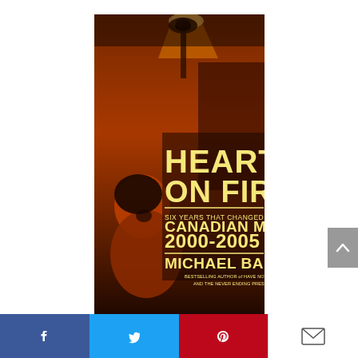[Figure (illustration): Book cover for 'Hearts on Fire: Six Years That Changed Canadian Music 2000-2005' by Michael Barclay. Dark orange/sepia-toned cover with concert scenes — a microphone with stage lighting at top, and a joyful young woman singing/performing at bottom left. Bold cream/yellow text reads HEARTS ON FIRE, subtitle SIX YEARS THAT CHANGED / CANADIAN MUSIC / 2000-2005, author MICHAEL BARCLAY, with small text 'Bestselling author of Have Not Been The Same and The Never Ending Present'.]
[Figure (other): Social media share bar at bottom with four buttons: Facebook (blue, f icon), Twitter (light blue, bird icon), Pinterest (red, P icon), Email (white, envelope icon).]